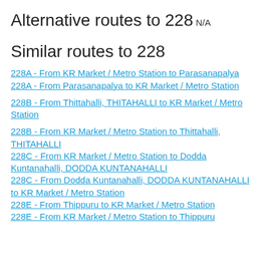Alternative routes to 228
N/A
Similar routes to 228
228A - From KR Market / Metro Station to Parasanapalya
228A - From Parasanapalya to KR Market / Metro Station
228B - From Thittahalli, THITAHALLI to KR Market / Metro Station
228B - From KR Market / Metro Station to Thittahalli, THITAHALLI
228C - From KR Market / Metro Station to Dodda Kuntanahalli, DODDA KUNTANAHALLI
228C - From Dodda Kuntanahalli, DODDA KUNTANAHALLI to KR Market / Metro Station
228E - From Thippuru to KR Market / Metro Station
228E - From KR Market / Metro Station to Thippuru